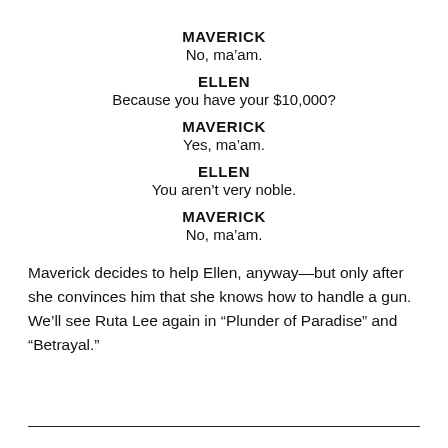MAVERICK
No, ma’am.
ELLEN
Because you have your $10,000?
MAVERICK
Yes, ma’am.
ELLEN
You aren’t very noble.
MAVERICK
No, ma’am.
Maverick decides to help Ellen, anyway—but only after she convinces him that she knows how to handle a gun. We’ll see Ruta Lee again in “Plunder of Paradise” and “Betrayal.”